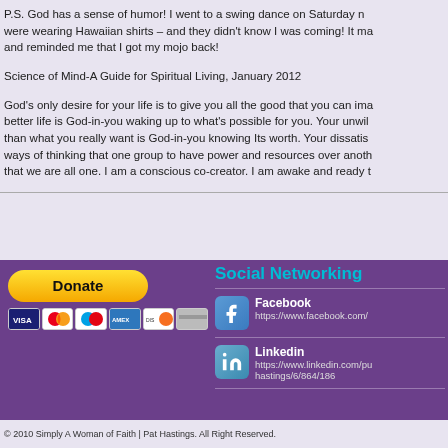P.S. God has a sense of humor! I went to a swing dance on Saturday night and half the men were wearing Hawaiian shirts – and they didn't know I was coming! It made me laugh out loud and reminded me that I got my mojo back!
Science of Mind-A Guide for Spiritual Living, January 2012
God's only desire for your life is to give you all the good that you can imagine. Your desire for a better life is God-in-you waking up to what's possible for you. Your unwillingness to accept less than what you really want is God-in-you knowing Its worth. Your dissatisfaction with the old ways of thinking that one group to have power and resources over another is God-in-you knowing that we are all one. I am a conscious co-creator. I am awake and ready to
[Figure (infographic): Donate button (yellow rounded rectangle with bold 'Donate' text) with payment card icons below (Visa, Mastercard, Maestro, Amex, Discover, generic card)]
Social Networking
Facebook
https://www.facebook.com/
Linkedin
https://www.linkedin.com/pu hastings/6/864/186
© 2010 Simply A Woman of Faith | Pat Hastings. All Right Reserved.